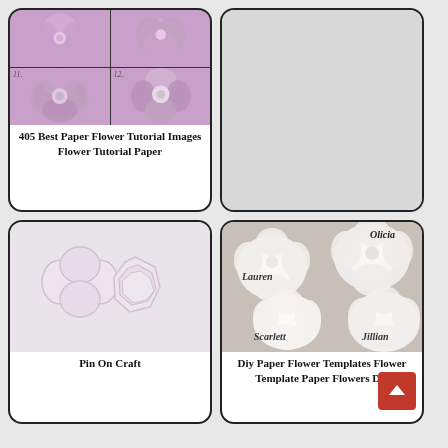[Figure (photo): Grid of 4 photos showing purple/lavender paper flowers in various stages, numbered 11 and 12 visible]
405 Best Paper Flower Tutorial Images Flower Tutorial Paper
[Figure (photo): Light gray blank placeholder card]
[Figure (illustration): Paper petal template shapes on light background - heart shaped and hexagonal petal cutouts]
Pin On Craft
[Figure (photo): White paper roses/flowers with names Olicia, Lauren, Scarlett, Jillian overlaid on image]
Diy Paper Flower Templates Flower Template Paper Flowers Diy